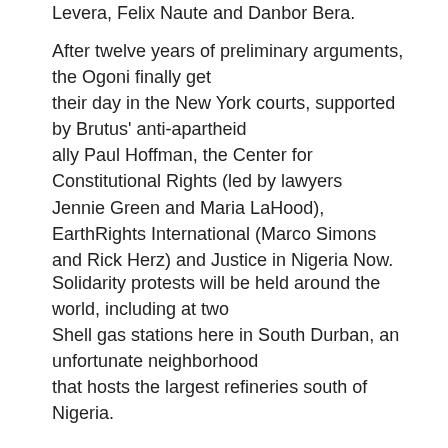Levera, Felix Naute and Danbor Bera.
After twelve years of preliminary arguments, the Ogoni finally get their day in the New York courts, supported by Brutus' anti-apartheid ally Paul Hoffman, the Center for Constitutional Rights (led by lawyers Jennie Green and Maria LaHood), EarthRights International (Marco Simons and Rick Herz) and Justice in Nigeria Now.
Solidarity protests will be held around the world, including at two Shell gas stations here in South Durban, an unfortunate neighborhood that hosts the largest refineries south of Nigeria.